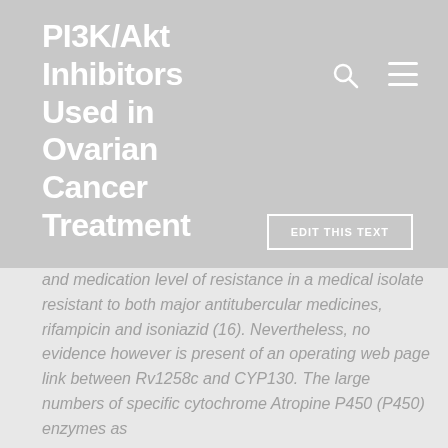PI3K/Akt Inhibitors Used in Ovarian Cancer Treatment
and medication level of resistance in a medical isolate resistant to both major antitubercular medicines, rifampicin and isoniazid (16). Nevertheless, no evidence however is present of an operating web page link between Rv1258c and CYP130. The large numbers of specific cytochrome Atropine P450 (P450) enzymes as